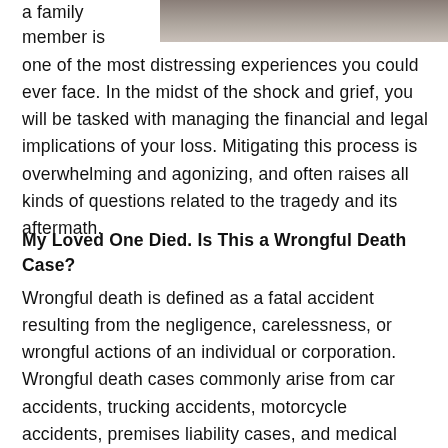[Figure (photo): Partial photograph of people, cropped at top of page, showing upper portion with dark background]
a family member is one of the most distressing experiences you could ever face. In the midst of the shock and grief, you will be tasked with managing the financial and legal implications of your loss. Mitigating this process is overwhelming and agonizing, and often raises all kinds of questions related to the tragedy and its aftermath.
My Loved One Died. Is This a Wrongful Death Case?
Wrongful death is defined as a fatal accident resulting from the negligence, carelessness, or wrongful actions of an individual or corporation. Wrongful death cases commonly arise from car accidents, trucking accidents, motorcycle accidents, premises liability cases, and medical malpractice cases.